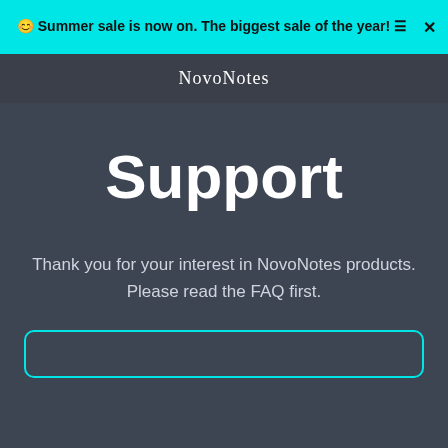😊 Summer sale is now on. The biggest sale of the year! ☰
NovoNotes
Support
Thank you for your interest in NovoNotes products.
Please read the FAQ first.
[Figure (other): Empty form box with cyan border at bottom of page]